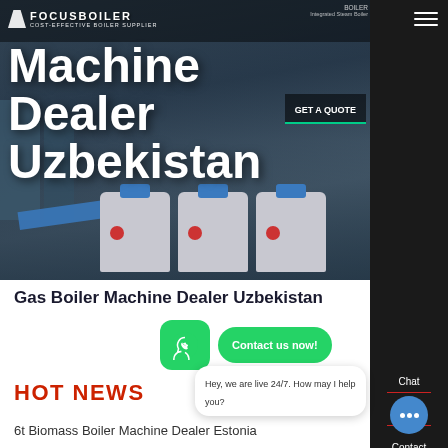[Figure (screenshot): Hero banner showing industrial boiler machinery (blue/grey industrial units) with dark overlay background]
FOCUSBOILER – COST-EFFECTIVE BOILER SUPPLIER
Machine Dealer Uzbekistan
Gas Boiler Machine Dealer Uzbekistan
HOT NEWS
6t Biomass Boiler Machine Dealer Estonia
Hey, we are live 24/7. How may I help you?